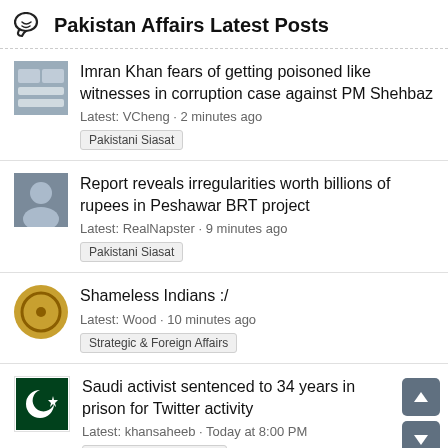Pakistan Affairs Latest Posts
Imran Khan fears of getting poisoned like witnesses in corruption case against PM Shehbaz
Latest: VCheng · 2 minutes ago
Pakistani Siasat
Report reveals irregularities worth billions of rupees in Peshawar BRT project
Latest: RealNapster · 9 minutes ago
Pakistani Siasat
Shameless Indians :/
Latest: Wood · 10 minutes ago
Strategic & Foreign Affairs
Saudi activist sentenced to 34 years in prison for Twitter activity
Latest: khansaheeb · Today at 8:00 PM
Social & Current Events